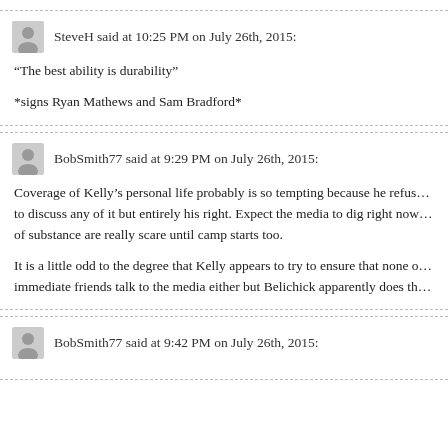SteveH said at 10:25 PM on July 26th, 2015:
“The best ability is durability”
*signs Ryan Mathews and Sam Bradford*
BobSmith77 said at 9:29 PM on July 26th, 2015:
Coverage of Kelly’s personal life probably is so tempting because he refuses to discuss any of it but entirely his right. Expect the media to dig right now, stories of substance are really scare until camp starts too.
It is a little odd to the degree that Kelly appears to try to ensure that none of his immediate friends talk to the media either but Belichick apparently does th
BobSmith77 said at 9:42 PM on July 26th, 2015: